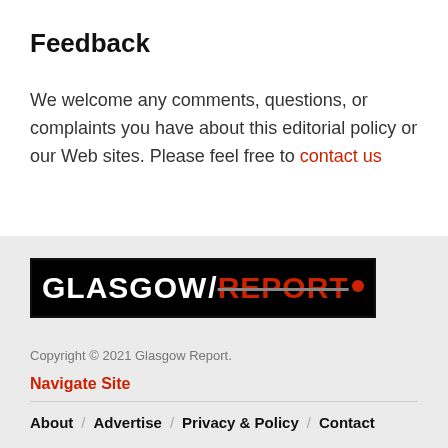Feedback
We welcome any comments, questions, or complaints you have about this editorial policy or our Web sites. Please feel free to contact us
[Figure (logo): Glasgow Report logo — black rectangle with white bold text 'GLASGOW' followed by a forward slash and red strikethrough bold text 'REPORT' with a red dot]
Copyright © 2021 Glasgow Report.
Navigate Site
About / Advertise / Privacy & Policy / Contact